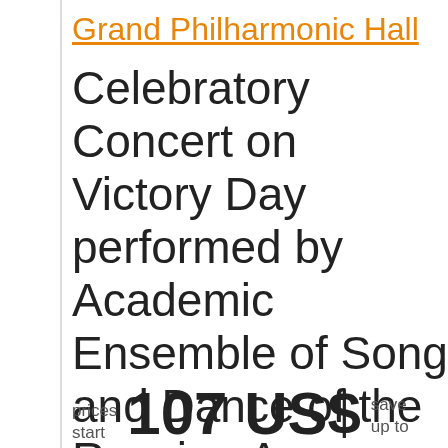Grand Philharmonic Hall
Celebratory Concert on Victory Day performed by Academic Ensemble of Song and Dance of the Russian Army named after A.V.Alexandrov
Concert
prices start
107 US$
save up to